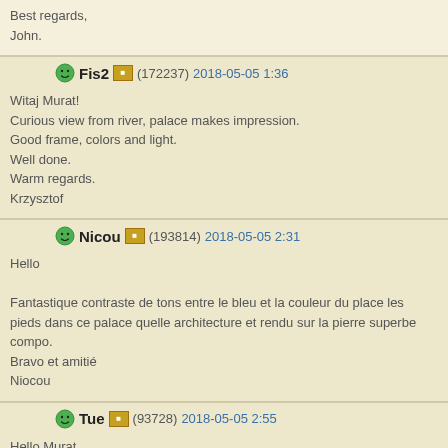Best regards,
John.
Fis2 (172237) 2018-05-05 1:36
Witaj Murat!
Curious view from river, palace makes impression.
Good frame, colors and light.
Well done.
Warm regards.
Krzysztof
Nicou (193814) 2018-05-05 2:31
Hello

Fantastique contraste de tons entre le bleu et la couleur du place les pieds dans ce palace quelle architecture et rendu sur la pierre superbe compo.
Bravo et amitié
Niocou
Tue (93728) 2018-05-05 2:55
Hello Murat.